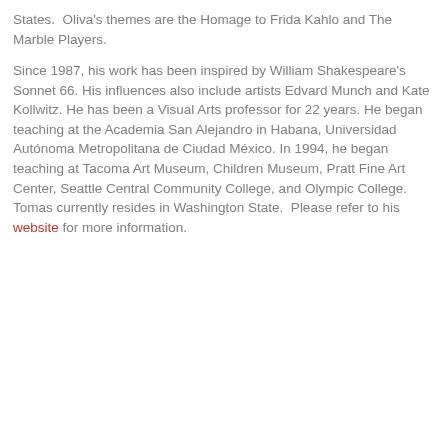States.  Oliva's themes are the Homage to Frida Kahlo and The Marble Players.
Since 1987, his work has been inspired by William Shakespeare's Sonnet 66. His influences also include artists Edvard Munch and Kate Kollwitz. He has been a Visual Arts professor for 22 years. He began teaching at the Academia San Alejandro in Habana, Universidad Autónoma Metropolitana de Ciudad México. In 1994, he began teaching at Tacoma Art Museum, Children Museum, Pratt Fine Art Center, Seattle Central Community College, and Olympic College. Tomas currently resides in Washington State.  Please refer to his website for more information.